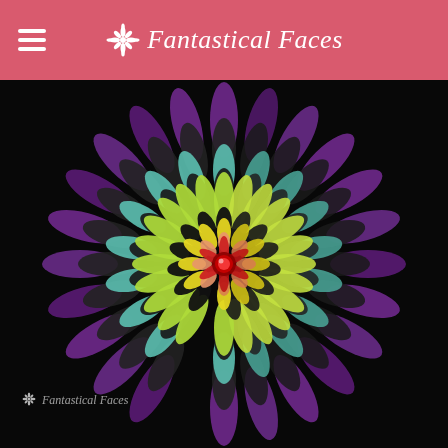Fantastical Faces
[Figure (photo): A colorful decorative flower made of layered feathers or petals arranged in concentric circles. Outermost layer is purple, then teal/mint, then yellow-green (chartreuse), with dark/black feathers in between layers. The center features a small red flower with orange petals and a crystal/rhinestone center. The entire arrangement is set against a solid black background. A 'Fantastical Faces' watermark logo appears in the bottom-left corner of the image.]